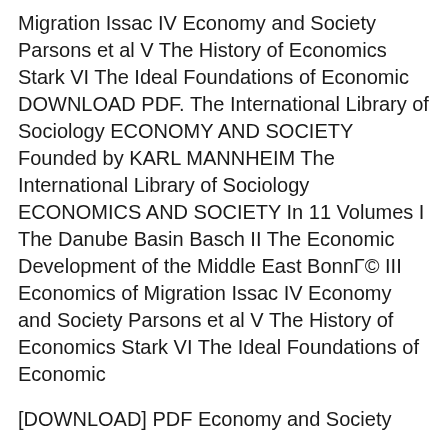Migration Issac IV Economy and Society Parsons et al V The History of Economics Stark VI The Ideal Foundations of Economic DOWNLOAD PDF. The International Library of Sociology ECONOMY AND SOCIETY Founded by KARL MANNHEIM The International Library of Sociology ECONOMICS AND SOCIETY In 11 Volumes I The Danube Basin Basch II The Economic Development of the Middle East BonnΓ© III Economics of Migration Issac IV Economy and Society Parsons et al V The History of Economics Stark VI The Ideal Foundations of Economic
[DOWNLOAD] PDF Economy and Society